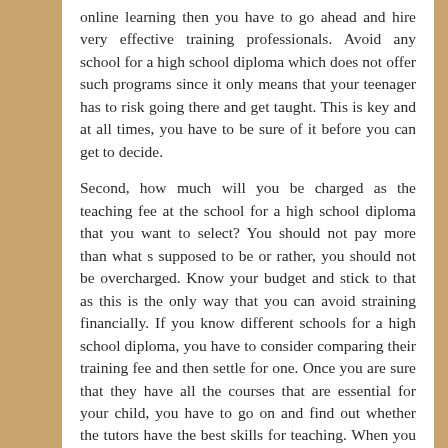online learning then you have to go ahead and hire very effective training professionals. Avoid any school for a high school diploma which does not offer such programs since it only means that your teenager has to risk going there and get taught. This is key and at all times, you have to be sure of it before you can get to decide.
Second, how much will you be charged as the teaching fee at the school for a high school diploma that you want to select? You should not pay more than what s supposed to be or rather, you should not be overcharged. Know your budget and stick to that as this is the only way that you can avoid straining financially. If you know different schools for a high school diploma, you have to consider comparing their training fee and then settle for one. Once you are sure that they have all the courses that are essential for your child, you have to go on and find out whether the tutors have the best skills for teaching. When you are sure that they are the best, go on and enroll your child to be taught.
Last, are the courses offered there at the school for the high school diploma short term. You should never waste time selecting a school for a high school diploma where your child will have to learn for long. You have to help them fulfill their